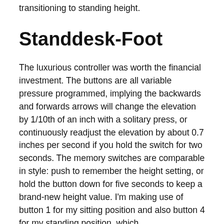transitioning to standing height.
Standdesk-Foot
The luxurious controller was worth the financial investment. The buttons are all variable pressure programmed, implying the backwards and forwards arrows will change the elevation by 1/10th of an inch with a solitary press, or continuously readjust the elevation by about 0.7 inches per second if you hold the switch for two seconds. The memory switches are comparable in style: push to remember the height setting, or hold the button down for five seconds to keep a brand-new height value. I'm making use of button 1 for my sitting position and also button 4 for my standing position, which